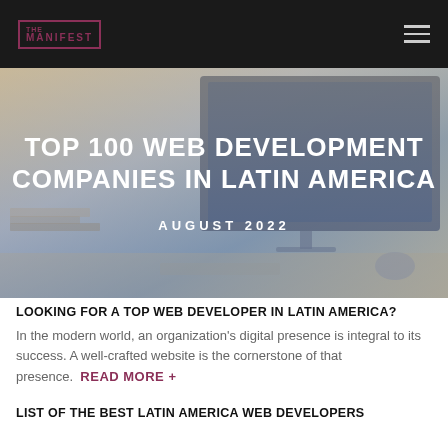THE MANIFEST
[Figure (photo): Hero banner with a desk/monitor background image showing a computer screen, books, and desk items, with blue/beige color toning overlay]
TOP 100 WEB DEVELOPMENT COMPANIES IN LATIN AMERICA
AUGUST 2022
LOOKING FOR A TOP WEB DEVELOPER IN LATIN AMERICA?
In the modern world, an organization's digital presence is integral to its success. A well-crafted website is the cornerstone of that presence.  READ MORE +
LIST OF THE BEST LATIN AMERICA WEB DEVELOPERS